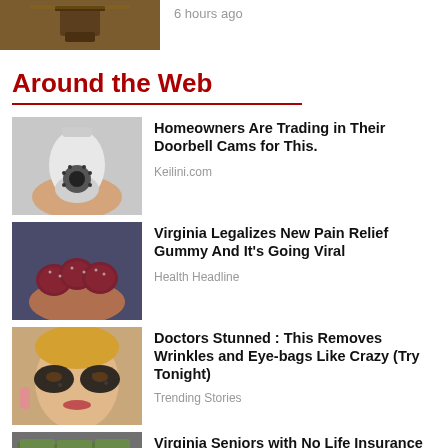[Figure (photo): A gavel on a wooden surface, partially cropped at top]
6 hours ago
Around the Web
[Figure (photo): A hand holding a round security camera that looks like a light bulb]
Homeowners Are Trading in Their Doorbell Cams for This.
Keilini.com
[Figure (photo): A hand holding several dark red gummy candies]
Virginia Legalizes New Pain Relief Gummy And It's Going Viral
Health Headline
[Figure (photo): A blonde woman with dark eye makeup/treatment applied under her eyes]
Doctors Stunned : This Removes Wrinkles and Eye-bags Like Crazy (Try Tonight)
Trending Stories
[Figure (photo): Stacks of money/cash bills]
Virginia Seniors with No Life Insurance Get a $250k Policy for $18/month